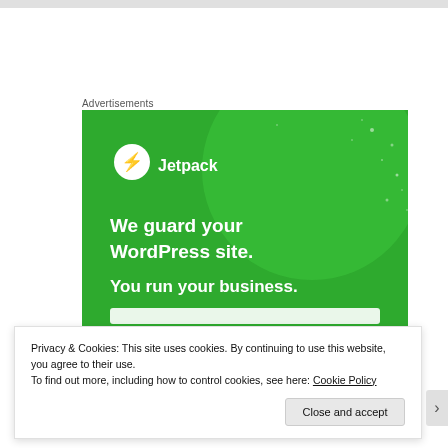Advertisements
[Figure (illustration): Jetpack advertisement banner on green background. Shows Jetpack logo (lightning bolt in circle) with text 'Jetpack', then bold white text 'We guard your WordPress site. You run your business.']
Privacy & Cookies: This site uses cookies. By continuing to use this website, you agree to their use.
To find out more, including how to control cookies, see here: Cookie Policy
Close and accept